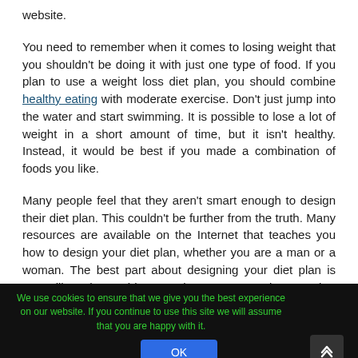website. You need to remember when it comes to losing weight that you shouldn't be doing it with just one type of food. If you plan to use a weight loss diet plan, you should combine healthy eating with moderate exercise. Don't just jump into the water and start swimming. It is possible to lose a lot of weight in a short amount of time, but it isn't healthy. Instead, it would be best if you made a combination of foods you like.
Many people feel that they aren't smart enough to design their diet plan. This couldn't be further from the truth. Many resources are available on the Internet that teaches you how to design your diet plan, whether you are a man or a woman. The best part about designing your diet plan is controlling what and how much you eat. You don't need to go on a diet to
We use cookies to ensure that we give you the best experience on our website. If you continue to use this site we will assume that you are happy with it.